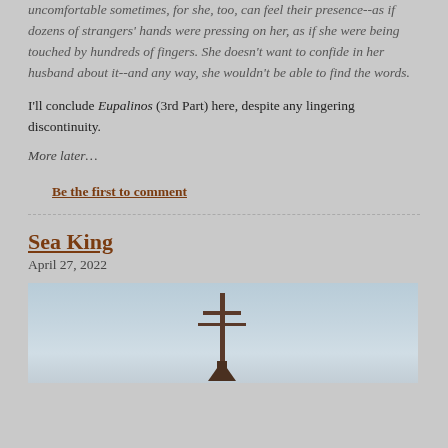uncomfortable sometimes, for she, too, can feel their presence--as if dozens of strangers' hands were pressing on her, as if she were being touched by hundreds of fingers. She doesn't want to confide in her husband about it--and any way, she wouldn't be able to find the words.
I'll conclude Eupalinos (3rd Part) here, despite any lingering discontinuity.
More later…
Be the first to comment
Sea King
April 27, 2022
[Figure (photo): A photo of a nautical or ocean scene with a silhouette of a ship's mast or structure against a light blue sky with faint clouds.]